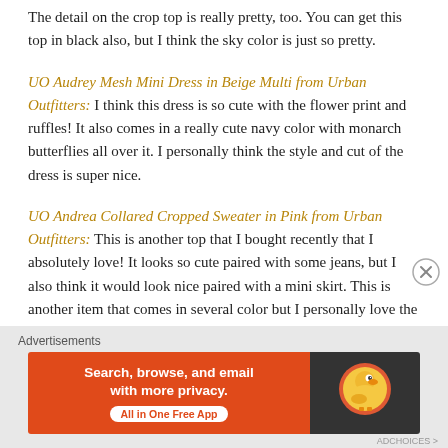The detail on the crop top is really pretty, too. You can get this top in black also, but I think the sky color is just so pretty.
UO Audrey Mesh Mini Dress in Beige Multi from Urban Outfitters: I think this dress is so cute with the flower print and ruffles! It also comes in a really cute navy color with monarch butterflies all over it. I personally think the style and cut of the dress is super nice.
UO Andrea Collared Cropped Sweater in Pink from Urban Outfitters: This is another top that I bought recently that I absolutely love! It looks so cute paired with some jeans, but I also think it would look nice paired with a mini skirt. This is another item that comes in several color but I personally love the pink.
Advertisements
[Figure (screenshot): DuckDuckGo advertisement banner: orange left panel with text 'Search, browse, and email with more privacy. All in One Free App' and dark right panel with DuckDuckGo logo]